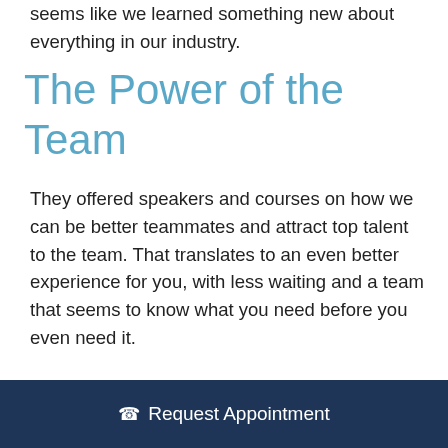seems like we learned something new about everything in our industry.
The Power of the Team
They offered speakers and courses on how we can be better teammates and attract top talent to the team. That translates to an even better experience for you, with less waiting and a team that seems to know what you need before you even need it.
The Power of Outreach
There were courses on outreach, both to
Request Appointment